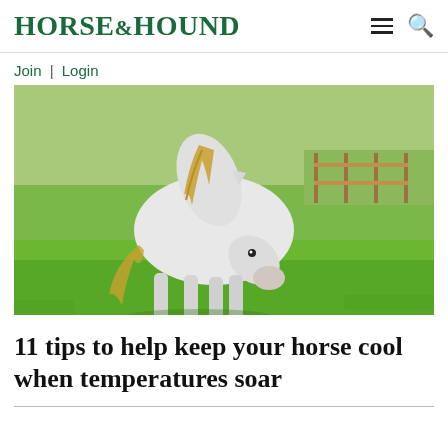HORSE&HOUND
Join | Login
[Figure (photo): A white horse grazing on bright green grass in a field, with a wooden fence visible in the background.]
11 tips to help keep your horse cool when temperatures soar